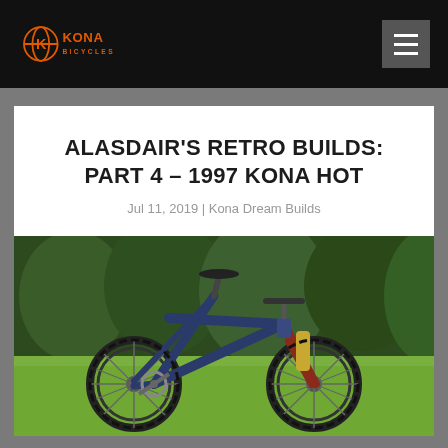Kona Bicycles navigation bar with logo and hamburger menu
ALASDAIR'S RETRO BUILDS: PART 4 – 1997 KONA HOT
Jul 11, 2019 | Kona Dream Builds
[Figure (photo): A 1997 Kona Hot mountain bike photographed outdoors on green grass with trees in the background. The bike has a dark blue/navy frame, large knobby tires, a reddish-brown front fork, and gold/brass colored suspension components.]